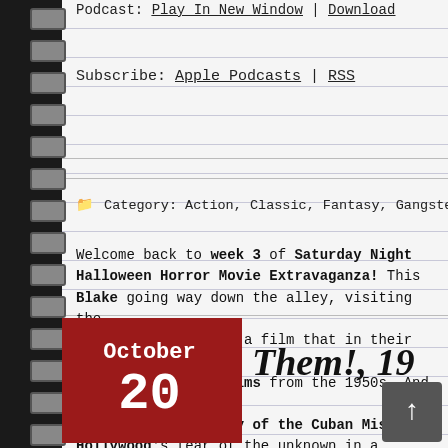Podcast: Play In New Window | Download
Subscribe: Apple Podcasts | RSS
Category: Action, Classic, Fantasy, Gangster, Hor…
Them! 19…
October 20
Welcome back to week 3 of Saturday Night Halloween Horror Movie Extravaganza! This Blake going way down the alley, visiting the genre, and tackling a film that in their opin… of Sci-Fi/Horror films from the 1950s. And wi… the 55th anniversary of the Cuban Missile… Hollywood's fear of the unknown in a Nuclear… Them! from 1954.